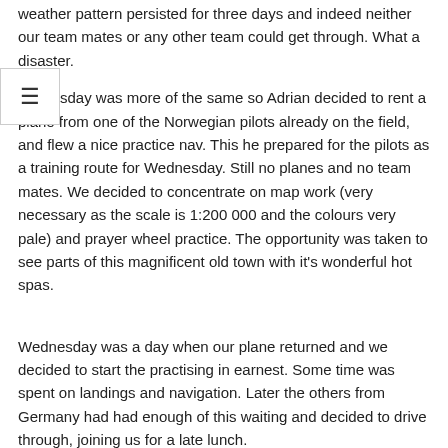weather pattern persisted for three days and indeed neither our team mates or any other team could get through. What a disaster.
sday was more of the same so Adrian decided to rent a plane from one of the Norwegian pilots already on the field, and flew a nice practice nav. This he prepared for the pilots as a training route for Wednesday. Still no planes and no team mates. We decided to concentrate on map work (very necessary as the scale is 1:200 000 and the colours very pale) and prayer wheel practice. The opportunity was taken to see parts of this magnificent old town with it's wonderful hot spas.
Wednesday was a day when our plane returned and we decided to start the practising in earnest. Some time was spent on landings and navigation. Later the others from Germany had had enough of this waiting and decided to drive through, joining us for a late lunch.
Thursday was a really intensive training day. The rest of the team